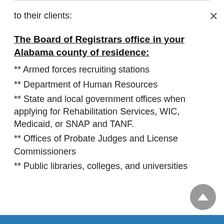to their clients:
The Board of Registrars office in your Alabama county of residence:
** Armed forces recruiting stations
** Department of Human Resources
** State and local government offices when applying for Rehabilitation Services, WIC, Medicaid, or SNAP and TANF.
** Offices of Probate Judges and License Commissioners
** Public libraries, colleges, and universities